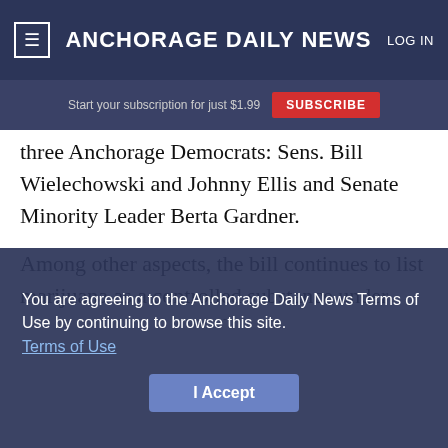≡  ANCHORAGE DAILY NEWS  LOG IN
Start your subscription for just $1.99  SUBSCRIBE
three Anchorage Democrats: Sens. Bill Wielechowski and Johnny Ellis and Senate Minority Leader Berta Gardner.
Among other aspects, the bill continues to list marijuana as a controlled substance under state law. Possession of 16 ounces or more or 25 plants would be a felony in the current version of the bill. Giving marijuana to a person under 21 would be a misdemeanor. The bill defines an open marijuana container and sets penalties regarding open
You are agreeing to the Anchorage Daily News Terms of Use by continuing to browse this site. Terms of Use
I Accept